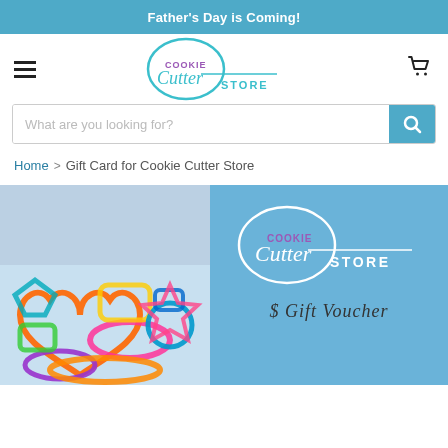Father's Day is Coming!
[Figure (logo): Cookie Cutter Store logo with teal circular script and purple/teal text]
What are you looking for?
Home > Gift Card for Cookie Cutter Store
[Figure (photo): Left: colorful cookie cutters in a pile. Right: Cookie Cutter Store gift card on blue background with '$ Gift Voucher' text.]